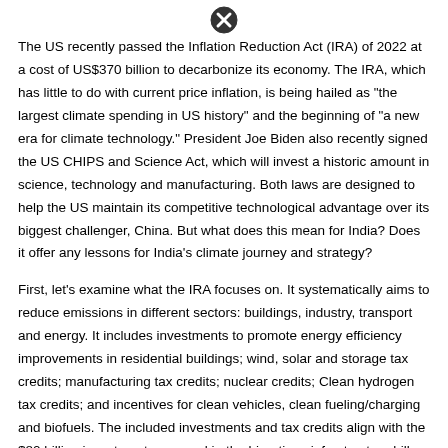[Figure (other): Close/cancel icon (circle with X) at top center of page]
The US recently passed the Inflation Reduction Act (IRA) of 2022 at a cost of US$370 billion to decarbonize its economy. The IRA, which has little to do with current price inflation, is being hailed as "the largest climate spending in US history" and the beginning of "a new era for climate technology." President Joe Biden also recently signed the US CHIPS and Science Act, which will invest a historic amount in science, technology and manufacturing. Both laws are designed to help the US maintain its competitive technological advantage over its biggest challenger, China. But what does this mean for India? Does it offer any lessons for India's climate journey and strategy?
First, let's examine what the IRA focuses on. It systematically aims to reduce emissions in different sectors: buildings, industry, transport and energy. It includes investments to promote energy efficiency improvements in residential buildings; wind, solar and storage tax credits; manufacturing tax credits; nuclear credits; Clean hydrogen tax credits; and incentives for clean vehicles, clean fueling/charging and biofuels. The included investments and tax credits align with the $80 billion investment proposed in the bipartisan infrastructure bill passed last Novem… Overall, the IRA seeks to reduce